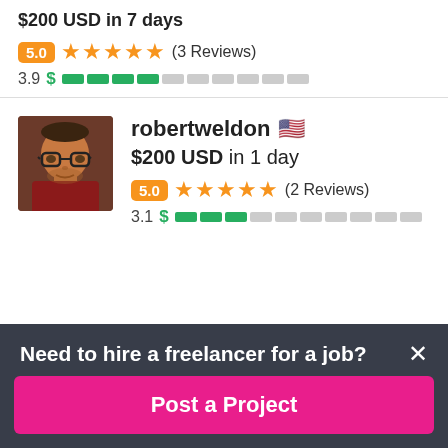$200 USD in 7 days
5.0 ★★★★★ (3 Reviews)
3.9 $ ████░░░░░░
[Figure (photo): Profile photo of robertweldon, a man with glasses wearing a red shirt]
robertweldon 🇺🇸
$200 USD in 1 day
5.0 ★★★★★ (2 Reviews)
3.1 $ ███░░░░░░░
Need to hire a freelancer for a job?
Post a Project